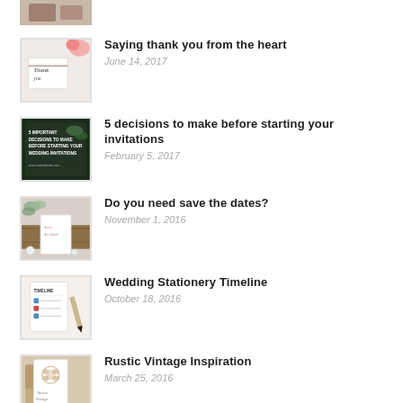[Figure (photo): Partial thumbnail of a blog post image at top of page]
[Figure (photo): Thumbnail showing thank you card with flowers and ribbon]
Saying thank you from the heart
June 14, 2017
[Figure (photo): Thumbnail showing text: 5 Important Decisions to Make Before Starting Your Wedding Invitations]
5 decisions to make before starting your invitations
February 5, 2017
[Figure (photo): Thumbnail showing save the date cards with eucalyptus on wooden surface]
Do you need save the dates?
November 1, 2016
[Figure (photo): Thumbnail showing wedding stationery timeline document]
Wedding Stationery Timeline
October 18, 2016
[Figure (photo): Thumbnail showing rustic vintage wedding stationery]
Rustic Vintage Inspiration
March 25, 2016
[Figure (photo): Partial thumbnail of another blog post at bottom of page]